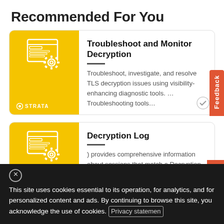Recommended For You
[Figure (screenshot): Card for 'Troubleshoot and Monitor Decryption' with yellow left panel showing a Strata icon and STRATA logo, and right panel with title, divider, and description text about TLS decryption troubleshooting tools.]
[Figure (screenshot): Card for 'Decryption Log' with yellow left panel showing a Strata icon and STRATA logo, and right panel with title, divider, and description text about decryption log sessions.]
[Figure (screenshot): Partial third card showing only the yellow left portion, partially visible at bottom.]
This site uses cookies essential to its operation, for analytics, and for personalized content and ads. By continuing to browse this site, you acknowledge the use of cookies. Privacy statement